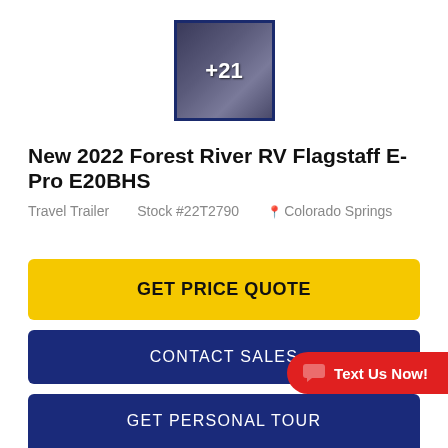[Figure (photo): Thumbnail image of RV interior with +21 overlay indicating 21 more photos]
New 2022 Forest River RV Flagstaff E-Pro E20BHS
Travel Trailer    Stock #22T2790    Colorado Springs
GET PRICE QUOTE
CONTACT SALES
GET PERSONAL TOUR
Text Us Now!